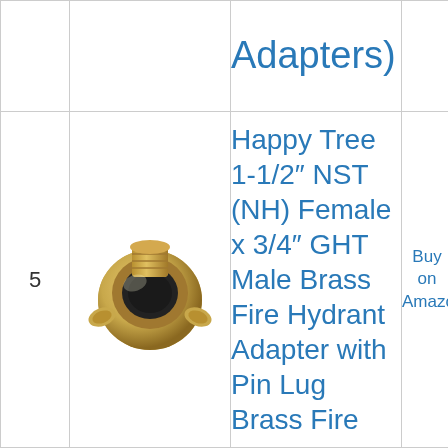| # | Image | Product Name | Link |
| --- | --- | --- | --- |
|  |  | Adapters) |  |
| 5 | [image: brass fire hydrant adapter] | Happy Tree 1-1/2″ NST (NH) Female x 3/4″ GHT Male Brass Fire Hydrant Adapter with Pin Lug Brass Fire... | Buy on Amazon |